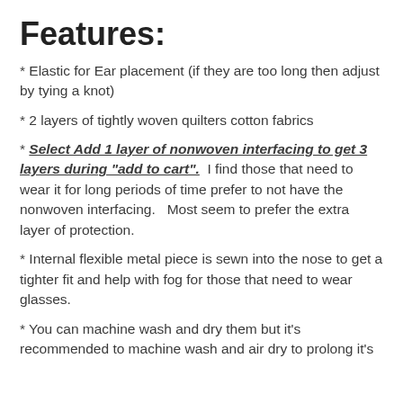Features:
* Elastic for Ear placement (if they are too long then adjust by tying a knot)
* 2 layers of tightly woven quilters cotton fabrics
* Select Add 1 layer of nonwoven interfacing to get 3 layers during "add to cart".  I find those that need to wear it for long periods of time prefer to not have the nonwoven interfacing.   Most seem to prefer the extra layer of protection.
* Internal flexible metal piece is sewn into the nose to get a tighter fit and help with fog for those that need to wear glasses.
* You can machine wash and dry them but it's recommended to machine wash and air dry to prolong it's